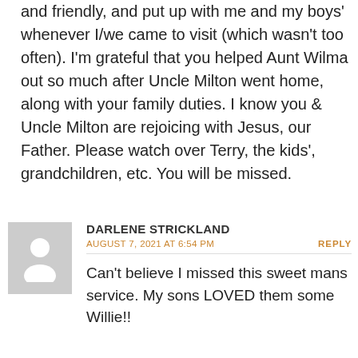and friendly, and put up with me and my boys' whenever I/we came to visit (which wasn't too often). I'm grateful that you helped Aunt Wilma out so much after Uncle Milton went home, along with your family duties. I know you & Uncle Milton are rejoicing with Jesus, our Father. Please watch over Terry, the kids', grandchildren, etc. You will be missed.
[Figure (illustration): Generic user avatar placeholder: grey square with white silhouette of a person]
DARLENE STRICKLAND
AUGUST 7, 2021 AT 6:54 PM
REPLY
Can't believe I missed this sweet mans service. My sons LOVED them some Willie!!